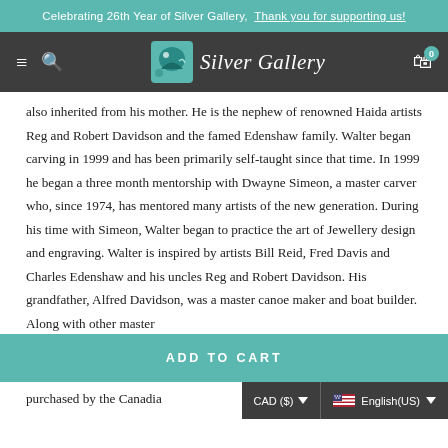Celebrating 26th Year of Silver Gallery, Thank you for supporting us!
[Figure (logo): Silver Gallery logo with teal bird/fish illustration and cursive text 'Silver Gallery']
also inherited from his mother. He is the nephew of renowned Haida artists Reg and Robert Davidson and the famed Edenshaw family. Walter began carving in 1999 and has been primarily self-taught since that time. In 1999 he began a three month mentorship with Dwayne Simeon, a master carver who, since 1974, has mentored many artists of the new generation. During his time with Simeon, Walter began to practice the art of Jewellery design and engraving. Walter is inspired by artists Bill Reid, Fred Davis and Charles Edenshaw and his uncles Reg and Robert Davidson. His grandfather, Alfred Davidson, was a master canoe maker and boat builder. Along with other master
ADD TO CART
purchased by the Canadia